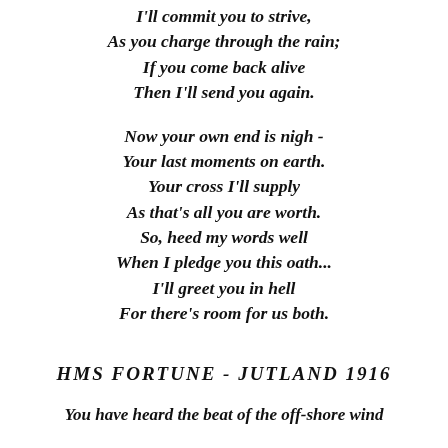I'll commit you to strive,
As you charge through the rain;
If you come back alive
Then I'll send you again.

Now your own end is nigh -
Your last moments on earth.
Your cross I'll supply
As that's all you are worth.
So, heed my words well
When I pledge you this oath...
I'll greet you in hell
For there's room for us both.
HMS  FORTUNE  -  JUTLAND  1916
You have heard the beat of the off-shore wind